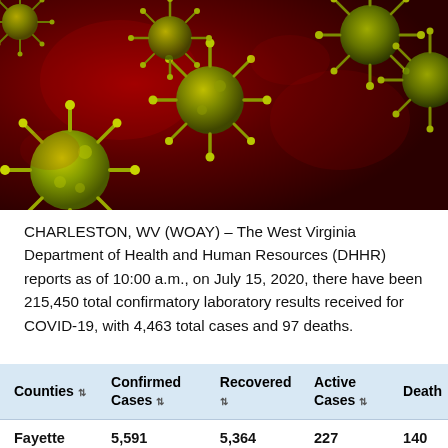[Figure (photo): Microscopic illustration of coronavirus (COVID-19) particles on a dark red background. Multiple yellow-green spiky virus particles visible.]
CHARLESTON, WV (WOAY) – The West Virginia Department of Health and Human Resources (DHHR) reports as of 10:00 a.m., on July 15, 2020, there have been 215,450 total confirmatory laboratory results received for COVID-19, with 4,463 total cases and 97 deaths.
| Counties | Confirmed Cases | Recovered | Active Cases | Death |
| --- | --- | --- | --- | --- |
| Fayette | 5,591 | 5,364 | 227 | 140 |